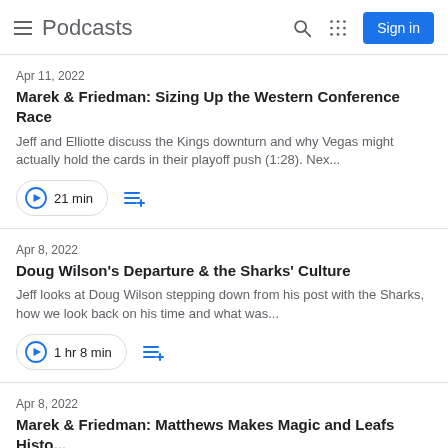Podcasts — Sign in
Apr 11, 2022
Marek & Friedman: Sizing Up the Western Conference Race
Jeff and Elliotte discuss the Kings downturn and why Vegas might actually hold the cards in their playoff push (1:28). Nex...
21 min
Apr 8, 2022
Doug Wilson's Departure & the Sharks' Culture
Jeff looks at Doug Wilson stepping down from his post with the Sharks, how we look back on his time and what was...
1 hr 8 min
Apr 8, 2022
Marek & Friedman: Matthews Makes Magic and Leafs Histo...